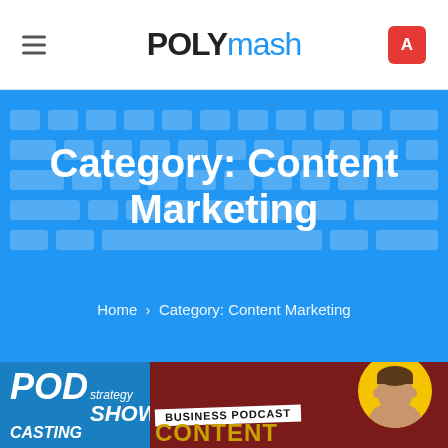POLYmash
Category: Content Marketing
Home › Category: Content Marketing
[Figure (screenshot): Podcasting Strategy Show – Business Podcast Content article preview image with blue and dark red background, yellow circle avatar of a man, white diagonal banner with 'BUSINESS PODCAST' text, and gold 'CONTENT' text]